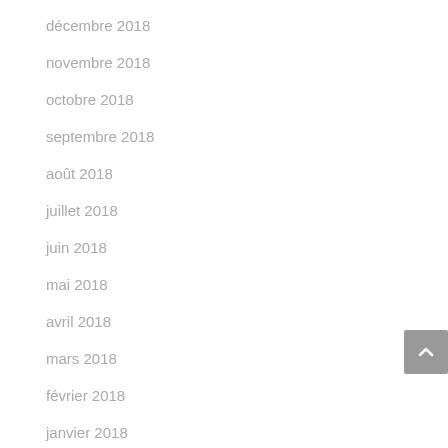décembre 2018
novembre 2018
octobre 2018
septembre 2018
août 2018
juillet 2018
juin 2018
mai 2018
avril 2018
mars 2018
février 2018
janvier 2018
décembre 2017
novembre 2017